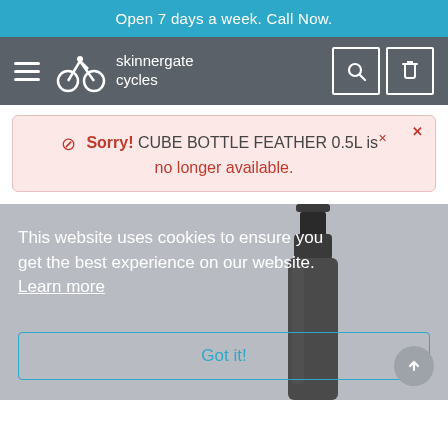Open 7 days a week. Call Now.
[Figure (logo): Skinnergate Cycles logo with cyclist icon and text 'skinnergate cycles' on dark grey navigation bar with hamburger menu, search icon, and cart icon]
Sorry! CUBE BOTTLE FEATHER 0.5L is no longer available.
This website uses cookies to ensure you get the best experience on our website. Learn more
[Figure (photo): Partial photo of a dark grey/black cycling water bottle (CUBE Bottle Feather 0.5L), showing cap and upper portion of bottle body]
Got it!